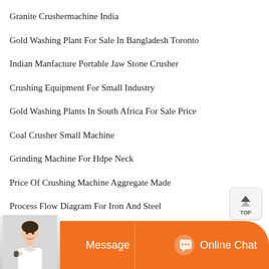Granite Crushermachine India
Gold Washing Plant For Sale In Bangladesh Toronto
Indian Manfacture Portable Jaw Stone Crusher
Crushing Equipment For Small Industry
Gold Washing Plants In South Africa For Sale Price
Coal Crusher Small Machine
Grinding Machine For Hdpe Neck
Price Of Crushing Machine Aggregate Made
Process Flow Diagram For Iron And Steel
Prices For Stone Crusher And Hummer
Power Plant Engineering Video Lectures
[Figure (other): TOP scroll-to-top button with upward arrow icon]
[Figure (other): Bottom chat bar with agent image, Message button and Online Chat button in orange]